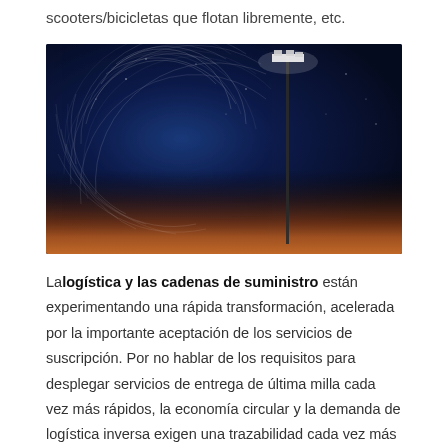scooters/bicicletas que flotan libremente, etc.
[Figure (photo): Long-exposure night sky photograph showing circular star trails around a central point, with a tall floodlight pole on the right side. The horizon shows warm orange and red tones fading into the deep blue night sky.]
La logística y las cadenas de suministro están experimentando una rápida transformación, acelerada por la importante aceptación de los servicios de suscripción. Por no hablar de los requisitos para desplegar servicios de entrega de última milla cada vez más rápidos, la economía circular y la demanda de logística inversa exigen una trazabilidad cada vez más